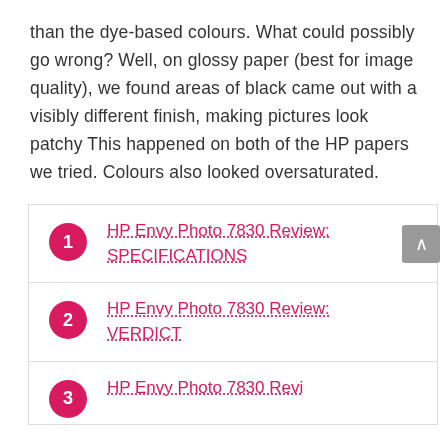than the dye-based colours. What could possibly go wrong? Well, on glossy paper (best for image quality), we found areas of black came out with a visibly different finish, making pictures look patchy This happened on both of the HP papers we tried. Colours also looked oversaturated.
HP Envy Photo 7830 Review: SPECIFICATIONS
HP Envy Photo 7830 Review: VERDICT
HP Envy Photo 7830 Review: